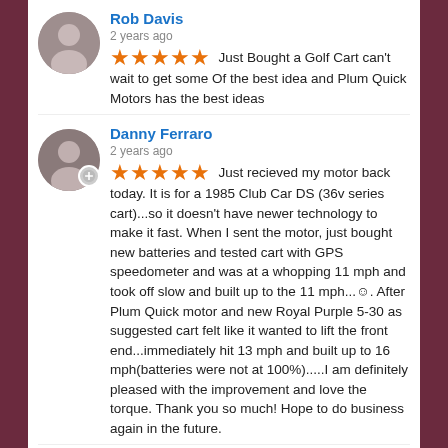Rob Davis
2 years ago
Just Bought a Golf Cart can't wait to get some Of the best idea and Plum Quick Motors has the best ideas
Danny Ferraro
2 years ago
Just recieved my motor back today. It is for a 1985 Club Car DS (36v series cart)...so it doesn't have newer technology to make it fast. When I sent the motor, just bought new batteries and tested cart with GPS speedometer and was at a whopping 11 mph and took off slow and built up to the 11 mph...☺. After Plum Quick motor and new Royal Purple 5-30 as suggested cart felt like it wanted to lift the front end...immediately hit 13 mph and built up to 16 mph(batteries were not at 100%).....I am definitely pleased with the improvement and love the torque. Thank you so much! Hope to do business again in the future.
Keith Priddy